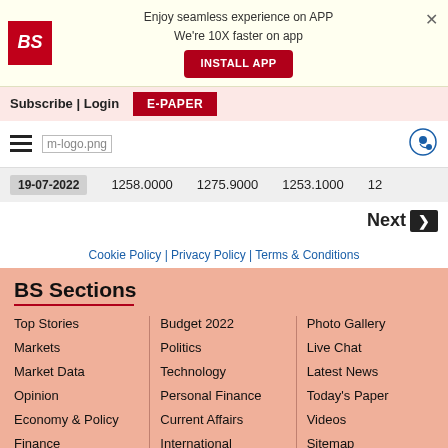Enjoy seamless experience on APP
We're 10X faster on app
INSTALL APP
Subscribe | Login
E-PAPER
[Figure (logo): BS logo and m-logo.png navigation bar]
| Date | Col1 | Col2 | Col3 | Col4 |
| --- | --- | --- | --- | --- |
| 19-07-2022 | 1258.0000 | 1275.9000 | 1253.1000 | 12... |
Next ›
Cookie Policy | Privacy Policy | Terms & Conditions
BS Sections
Top Stories
Markets
Market Data
Opinion
Economy & Policy
Finance
Budget 2022
Politics
Technology
Personal Finance
Current Affairs
International
Photo Gallery
Live Chat
Latest News
Today's Paper
Videos
Sitemap